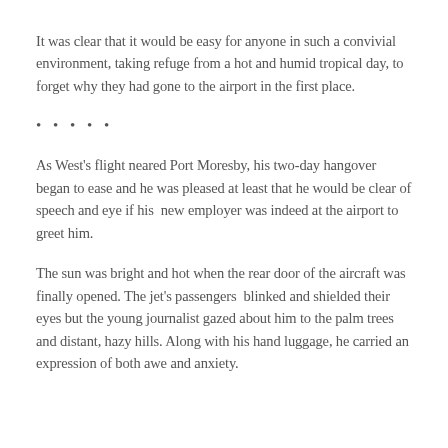It was clear that it would be easy for anyone in such a convivial environment, taking refuge from a hot and humid tropical day, to forget why they had gone to the airport in the first place.
• • • • •
As West's flight neared Port Moresby, his two-day hangover began to ease and he was pleased at least that he would be clear of speech and eye if his new employer was indeed at the airport to greet him.
The sun was bright and hot when the rear door of the aircraft was finally opened. The jet's passengers blinked and shielded their eyes but the young journalist gazed about him to the palm trees and distant, hazy hills. Along with his hand luggage, he carried an expression of both awe and anxiety.